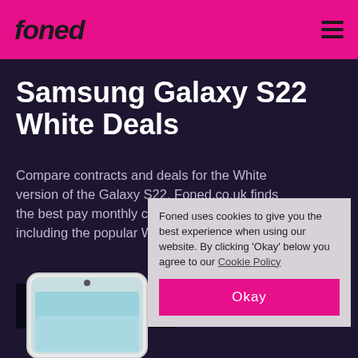foned
Samsung Galaxy S22 White Deals
Compare contracts and deals for the White version of the Galaxy S22. Foned.co.uk finds the best pay monthly contracts, for all colours including the popular White trim.
VIEW ALL GALAXY S22 DEALS →
[Figure (photo): Samsung Galaxy S22 in white colour, front view showing the screen and camera]
Foned uses cookies to give you the best experience when using our website. By clicking 'Okay' below you agree to our Cookie Policy
Okay